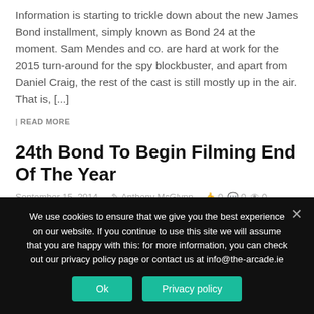Information is starting to trickle down about the new James Bond installment, simply known as Bond 24 at the moment. Sam Mendes and co. are hard at work for the 2015 turn-around for the spy blockbuster, and apart from Daniel Craig, the rest of the cast is still mostly up in the air. That is, [...]
| READ MORE
24th Bond To Begin Filming End Of The Year
September 15, 2014   Anthony McGlynn   0   0   0
The latest James Bond adventure is promising to keep things
We use cookies to ensure that we give you the best experience on our website. If you continue to use this site we will assume that you are happy with this: for more information, you can check out our privacy policy page or contact us at info@the-arcade.ie